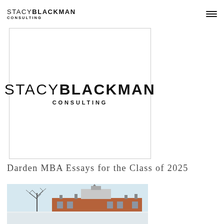STACY BLACKMAN CONSULTING
[Figure (logo): Stacy Blackman Consulting logo — company name in mixed light and bold weight lettering with 'CONSULTING' in small caps below, inside a light grey bordered box]
Darden MBA Essays for the Class of 2025
[Figure (photo): Partial photograph of a university building with colonial architecture, brick, and bare winter trees, likely the Darden School of Business at UVA]